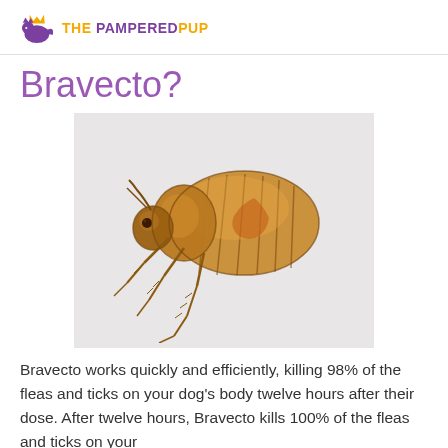THE PAMPERED PUP
Bravecto?
[Figure (photo): Close-up illustration/photo of a flea, showing detailed anatomy including legs, body segments, and head, rendered in amber/golden-brown tones against a light grey background.]
Bravecto works quickly and efficiently, killing 98% of the fleas and ticks on your dog's body twelve hours after their dose. After twelve hours, Bravecto kills 100% of the fleas and ticks on your